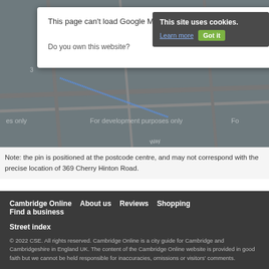[Figure (screenshot): Google Maps error dialog showing 'This page can't load Google Maps correctly' with a 'Do you own this website?' prompt and an OK button. A cookie notification banner is visible in the top right. The map background shows a dark street map with 'For development purposes only' watermarks.]
Note: the pin is positioned at the postcode centre, and may not correspond with the precise location of 369 Cherry Hinton Road.
Cambridge Online   About us   Reviews   Shopping   Find a business   Street index
© 2022 CSE. All rights reserved. Cambridge Online is a city guide for Cambridge and Cambridgeshire in England UK. The content of the Cambridge Online website is provided in good faith but we cannot be held responsible for inaccuracies, omissions or visitors' comments.